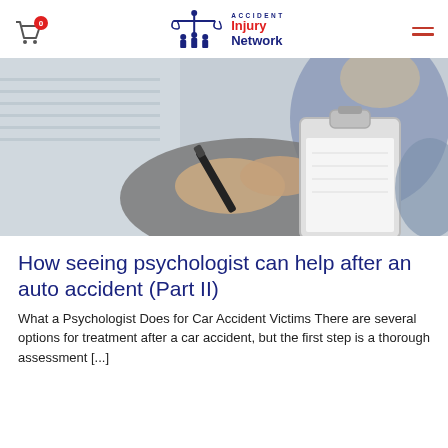Accident Injury Network
[Figure (photo): Close-up of a person holding a clipboard and pen, appearing to fill out a form. The person is wearing a blue top and a grey jacket. The background is blurred.]
How seeing psychologist can help after an auto accident (Part II)
What a Psychologist Does for Car Accident Victims There are several options for treatment after a car accident, but the first step is a thorough assessment [...]